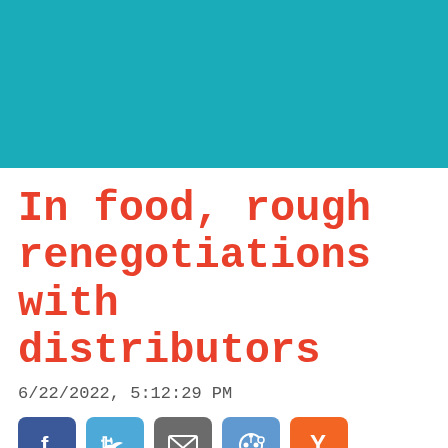[Figure (other): Teal/dark cyan colored header banner block]
In food, rough renegotiations with distributors
6/22/2022, 5:12:29 PM
[Figure (other): Social sharing buttons: Facebook, Twitter, Email, Reddit, Hacker News (Y)]
DECRYPTION – For the past two months, the